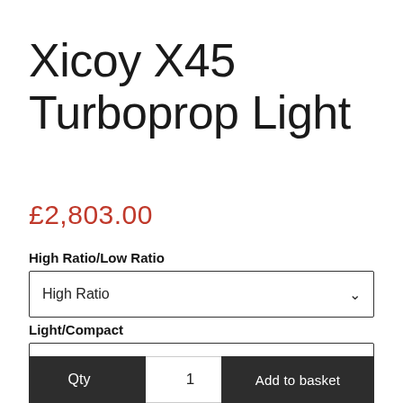Xicoy X45 Turboprop Light
£2,803.00
High Ratio/Low Ratio
High Ratio
Light/Compact
Compact
Qty  1
Add to basket